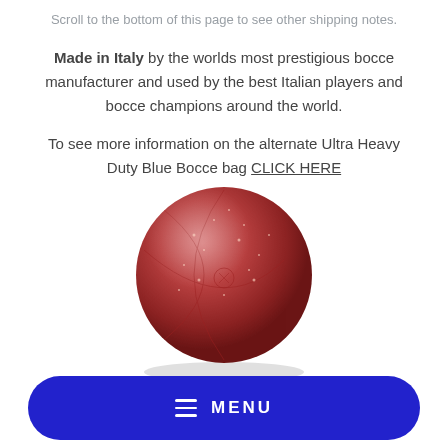Scroll to the bottom of this page to see other shipping notes.
Made in Italy by the worlds most prestigious bocce manufacturer and used by the best Italian players and bocce champions around the world.
To see more information on the alternate Ultra Heavy Duty Blue Bocce bag CLICK HERE
[Figure (photo): A red bocce ball with surface markings and speckles, photographed on a white background.]
MENU